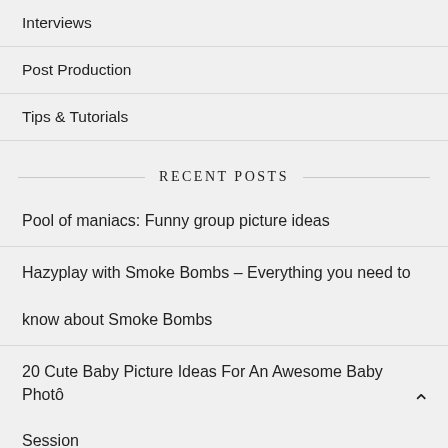Interviews
Post Production
Tips & Tutorials
RECENT POSTS
Pool of maniacs: Funny group picture ideas
Hazyplay with Smoke Bombs – Everything you need to know about Smoke Bombs
20 Cute Baby Picture Ideas For An Awesome Baby Photo Session